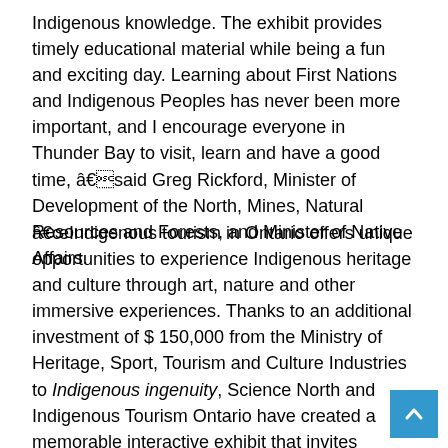Indigenous knowledge. The exhibit provides timely educational material while being a fun and exciting day. Learning about First Nations and Indigenous Peoples has never been more important, and I encourage everyone in Thunder Bay to visit, learn and have a good time, â€said Greg Rickford, Minister of Development of the North, Mines, Natural Resources and Forests, and Minister of Native Affairs.
â€œIndigenous tourism in Ontario offers unique opportunities to experience Indigenous heritage and culture through art, nature and other immersive experiences. Thanks to an additional investment of $ 150,000 from the Ministry of Heritage, Sport, Tourism and Culture Industries to Indigenous ingenuity, Science North and Indigenous Tourism Ontario have created a memorable interactive exhibit that invites visitors of all ages to explore traditional Indigenous knowledge and techniques through the lens of science and innovation. I encourage everyone to safely participate in this exhibit and celebrate Indigenous heritage and ingenuity, â€commented